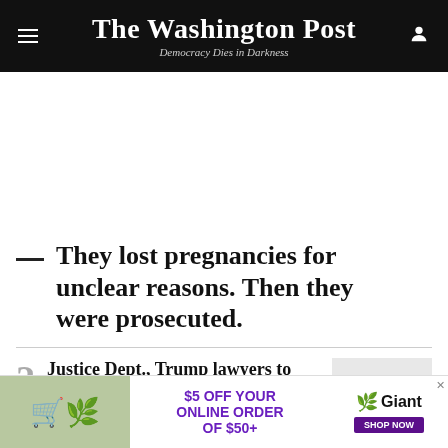The Washington Post — Democracy Dies in Darkness
They lost pregnancies for unclear reasons. Then they were prosecuted.
2  Justice Dept., Trump lawyers to face off in court over special master appointment
[Figure (photo): Advertisement banner: $5 OFF YOUR ONLINE ORDER OF $50+ Giant Food SHOP NOW]